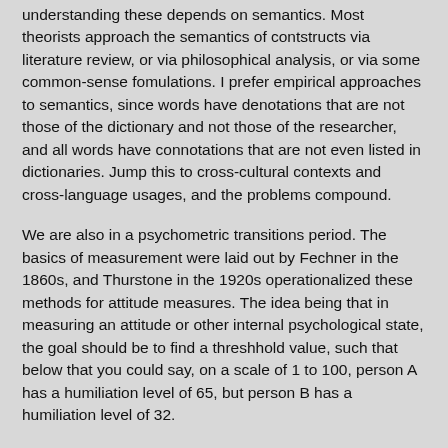understanding these depends on semantics. Most theorists approach the semantics of contstructs via literature review, or via philosophical analysis, or via some common-sense fomulations. I prefer empirical approaches to semantics, since words have denotations that are not those of the dictionary and not those of the researcher, and all words have connotations that are not even listed in dictionaries. Jump this to cross-cultural contexts and cross-language usages, and the problems compound.
We are also in a psychometric transitions period. The basics of measurement were laid out by Fechner in the 1860s, and Thurstone in the 1920s operationalized these methods for attitude measures. The idea being that in measuring an attitude or other internal psychological state, the goal should be to find a threshhold value, such that below that you could say, on a scale of 1 to 100, person A has a humiliation level of 65, but person B has a humiliation level of 32.
Likert came along in 1932 (I got a copy of his dissertation at Columbia while I was there for the conference), and argued that we should forget about threshholds and just strive for consistency of responses. Then came along Cronbach to give a numerical razzle-dazzle alpha coefficient that we can be confident in our Likert measures. When historians of psychology in the year 2200 look back on our are